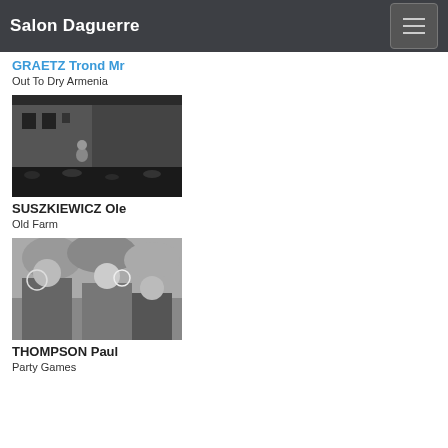Salon Daguerre
GRAETZ Trond Mr
Out To Dry Armenia
[Figure (photo): Black and white photo of a child sitting in a courtyard in front of a building, surrounded by fallen leaves, Old Farm by SUSZKIEWICZ Ole]
SUSZKIEWICZ Ole
Old Farm
[Figure (photo): Black and white photo of children blowing bubbles outdoors, Party Games by THOMPSON Paul]
THOMPSON Paul
Party Games